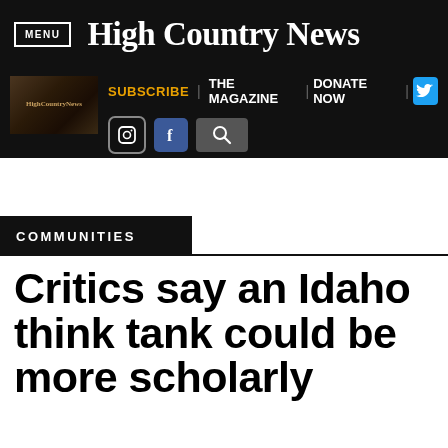MENU | High Country News
[Figure (screenshot): High Country News website navigation bar with MENU button, site logo, SUBSCRIBE, THE MAGAZINE, DONATE NOW links, Twitter, Instagram, Facebook, and search icons]
COMMUNITIES
Critics say an Idaho think tank could be more scholarly